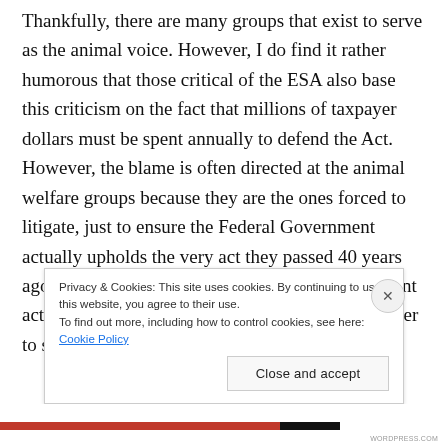Thankfully, there are many groups that exist to serve as the animal voice. However, I do find it rather humorous that those critical of the ESA also base this criticism on the fact that millions of taxpayer dollars must be spent annually to defend the Act. However, the blame is often directed at the animal welfare groups because they are the ones forced to litigate, just to ensure the Federal Government actually upholds the very act they passed 40 years ago. One might argue that if the federal government actually upheld the ESA legislation rather than cater to special interests, the animal welfare groups
Privacy & Cookies: This site uses cookies. By continuing to use this website, you agree to their use.
To find out more, including how to control cookies, see here: Cookie Policy
Close and accept